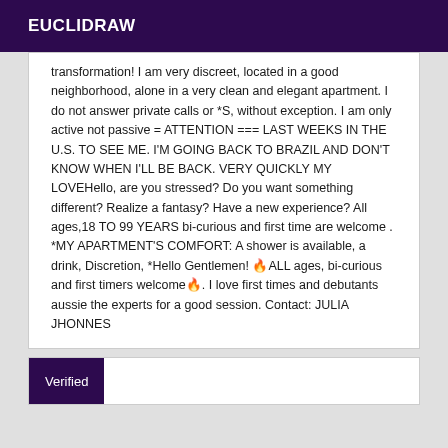EUCLIDRAW
transformation! I am very discreet, located in a good neighborhood, alone in a very clean and elegant apartment. I do not answer private calls or *S, without exception. I am only active not passive = ATTENTION === LAST WEEKS IN THE U.S. TO SEE ME. I'M GOING BACK TO BRAZIL AND DON'T KNOW WHEN I'LL BE BACK. VERY QUICKLY MY LOVEHello, are you stressed? Do you want something different? Realize a fantasy? Have a new experience? All ages,18 TO 99 YEARS bi-curious and first time are welcome . *MY APARTMENT'S COMFORT: A shower is available, a drink, Discretion, *Hello Gentlemen! 🔥ALL ages, bi-curious and first timers welcome🔥. I love first times and debutants aussie the experts for a good session. Contact: JULIA JHONNES
Verified